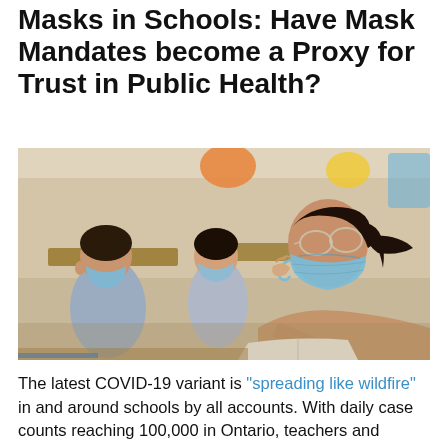Masks in Schools: Have Mask Mandates become a Proxy for Trust in Public Health?
[Figure (photo): Students wearing blue surgical face masks sitting at desks in a classroom, writing and studying. A girl with glasses and ponytail in the foreground wearing a beige hoodie.]
The latest COVID-19 variant is "spreading like wildfire" in and around schools by all accounts. With daily case counts reaching 100,000 in Ontario, teachers and parents, with the support of Toronto infectious disease specialist Dr.